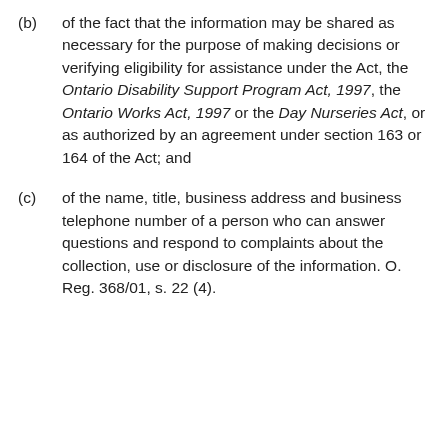(b) of the fact that the information may be shared as necessary for the purpose of making decisions or verifying eligibility for assistance under the Act, the Ontario Disability Support Program Act, 1997, the Ontario Works Act, 1997 or the Day Nurseries Act, or as authorized by an agreement under section 163 or 164 of the Act; and
(c) of the name, title, business address and business telephone number of a person who can answer questions and respond to complaints about the collection, use or disclosure of the information. O. Reg. 368/01, s. 22 (4).